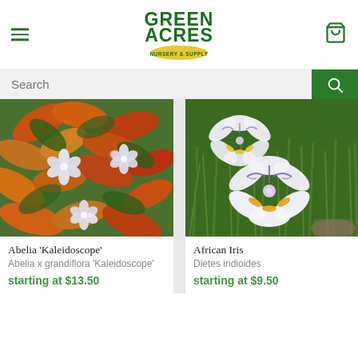Green Acres Nursery & Supply
Search
[Figure (photo): Colorful Abelia 'Kaleidoscope' plant with multicolored leaves in orange, red, green and small white flowers]
Abelia 'Kaleidoscope'
Abelia x grandiflora 'Kaleidoscope'
starting at $13.50
[Figure (photo): African Iris (Dietes iridioides) with white flowers with purple and yellow markings growing in grass]
African Iris
Dietes iridioides
starting at $9.50